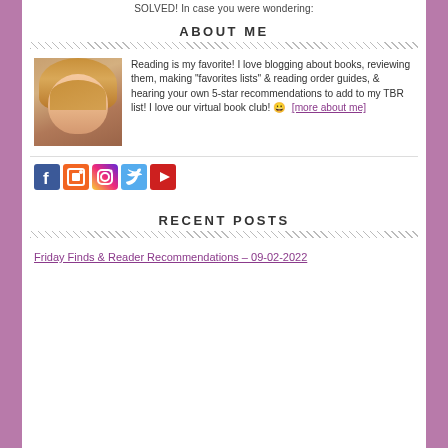SOLVED! In case you were wondering:
ABOUT ME
Reading is my favorite! I love blogging about books, reviewing them, making "favorites lists" & reading order guides, & hearing your own 5-star recommendations to add to my TBR list! I love our virtual book club! 😀 [more about me]
[Figure (photo): Portrait photo of a smiling woman with long blonde/brown hair wearing a hat]
[Figure (infographic): Social media icons: Facebook, RSS, Instagram, Twitter, YouTube]
RECENT POSTS
Friday Finds & Reader Recommendations – 09-02-2022